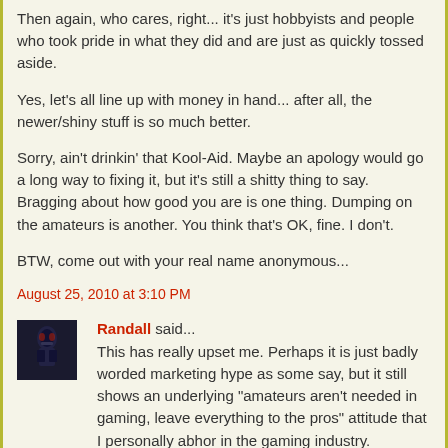Then again, who cares, right... it's just hobbyists and people who took pride in what they did and are just as quickly tossed aside.
Yes, let's all line up with money in hand... after all, the newer/shiny stuff is so much better.
Sorry, ain't drinkin' that Kool-Aid. Maybe an apology would go a long way to fixing it, but it's still a shitty thing to say. Bragging about how good you are is one thing. Dumping on the amateurs is another. You think that's OK, fine. I don't.
BTW, come out with your real name anonymous...
August 25, 2010 at 3:10 PM
Randall said...
[Figure (photo): Small avatar image showing a dark sci-fi character (appears to be Darth Vader or similar) against a dark background]
This has really upset me. Perhaps it is just badly worded marketing hype as some say, but it still shows an underlying "amateurs aren't needed in gaming, leave everything to the pros" attitude that I personally abhor in the gaming industry. Considering that I'd been multi-